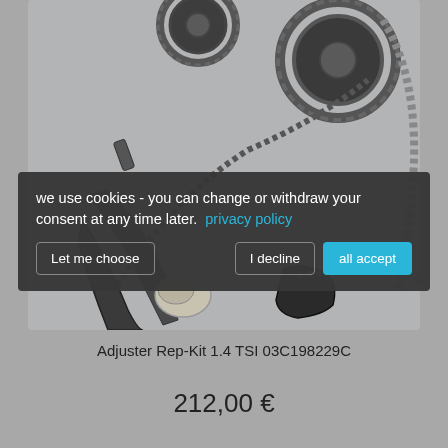[Figure (photo): Timing chain kit components including gears, chain links, tensioners and guides for an automobile engine (Adjuster Rep-Kit 1.4 TSI)]
we use cookies - you can change or withdraw your consent at any time later.  privacy policy
Let me choose
I decline
all accept
Adjuster Rep-Kit 1.4 TSI 03C198229C
212,00 €